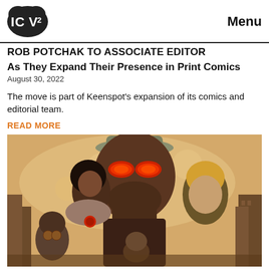ICV2 | Menu
ROB POTCHAK TO ASSOCIATE EDITOR
As They Expand Their Presence in Print Comics
August 30, 2022
The move is part of Keenspot's expansion of its comics and editorial team.
READ MORE
[Figure (illustration): Comic book style illustration showing several characters including a large man with glowing red eyes and a hat, a woman with fur collar and necklace, and several other characters in an urban setting]